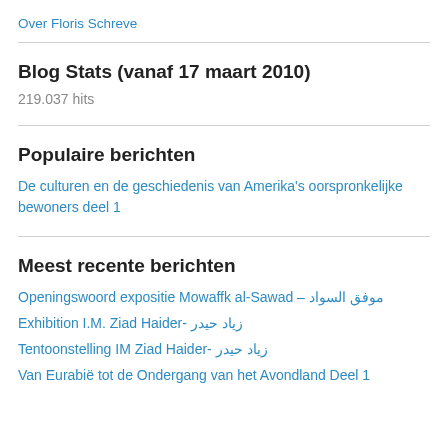Over Floris Schreve
Blog Stats (vanaf 17 maart 2010)
219.037 hits
Populaire berichten
De culturen en de geschiedenis van Amerika's oorspronkelijke bewoners deel 1
Meest recente berichten
Openingswoord expositie Mowaffk al-Sawad – موفق السواد
Exhibition I.M. Ziad Haider- زياد حيدر
Tentoonstelling IM Ziad Haider- زياد حيدر
Van Eurabië tot de Ondergang van het Avondland Deel 1